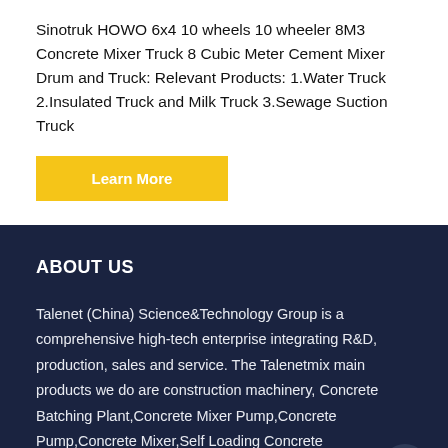Sinotruk HOWO 6x4 10 wheels 10 wheeler 8M3 Concrete Mixer Truck 8 Cubic Meter Cement Mixer Drum and Truck: Relevant Products: 1.Water Truck 2.Insulated Truck and Milk Truck 3.Sewage Suction Truck
Learn More
ABOUT US
Talenet (China) Science&Technology Group is a comprehensive high-tech enterprise integrating R&D, production, sales and service. The Talenetmix main products we do are construction machinery, Concrete Batching Plant,Concrete Mixer Pump,Concrete Pump,Concrete Mixer,Self Loading Concrete Mixer,Concrete Mixing Truck, etc.